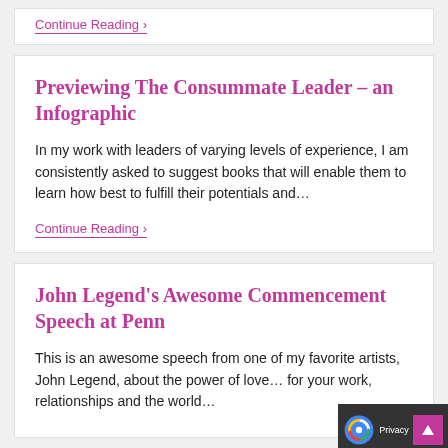Continue Reading ›
Previewing The Consummate Leader – an Infographic
In my work with leaders of varying levels of experience, I am consistently asked to suggest books that will enable them to learn how best to fulfill their potentials and…
Continue Reading ›
John Legend's Awesome Commencement Speech at Penn
This is an awesome speech from one of my favorite artists, John Legend, about the power of love… for your work, relationships and the world…